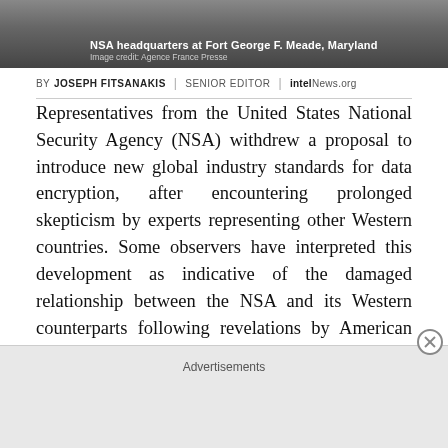[Figure (photo): NSA headquarters at Fort George F. Meade, Maryland. Aerial/landscape photo with dark tones.]
NSA headquarters at Fort George F. Meade, Maryland
Image credit: Agence France Presse
BY JOSEPH FITSANAKIS | SENIOR EDITOR | intelNews.org
Representatives from the United States National Security Agency (NSA) withdrew a proposal to introduce new global industry standards for data encryption, after encountering prolonged skepticism by experts representing other Western countries. Some observers have interpreted this development as indicative of the damaged relationship between the NSA and its Western counterparts following revelations by American defector Edward Snowden.
Deliberations for establishing new industry standards for
Advertisements